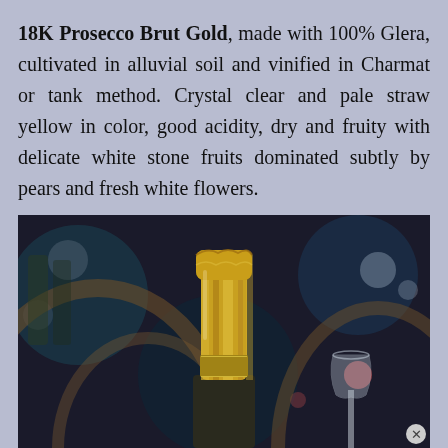18K Prosecco Brut Gold, made with 100% Glera, cultivated in alluvial soil and vinified in Charmat or tank method. Crystal clear and pale straw yellow in color, good acidity, dry and fruity with delicate white stone fruits dominated subtly by pears and fresh white flowers.
[Figure (photo): Close-up photograph of a gold-foiled Prosecco bottle neck against a dark blurred bar/restaurant background with bokeh lights, with a champagne glass visible at the bottom right.]